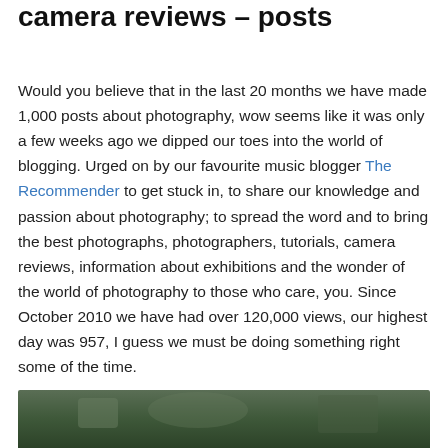camera reviews – posts
Would you believe that in the last 20 months we have made 1,000 posts about photography, wow seems like it was only a few weeks ago we dipped our toes into the world of blogging. Urged on by our favourite music blogger The Recommender to get stuck in, to share our knowledge and passion about photography; to spread the word and to bring the best photographs, photographers, tutorials, camera reviews, information about exhibitions and the wonder of the world of photography to those who care, you. Since October 2010 we have had over 120,000 views, our highest day was 957, I guess we must be doing something right some of the time.
[Figure (photo): Partial view of a dark green outdoor photograph, cut off at the bottom of the page.]